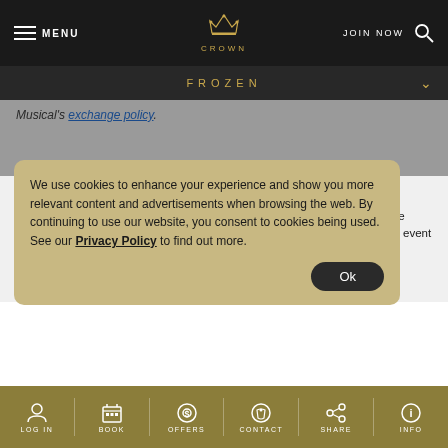MENU | CROWN | JOIN NOW
FROZEN
Musical's exchange policy.
Terms & Conditions
Infants under the age of 2 years are admitted free but must be seated on the carer's lap for the duration of the performance and not occupy a seat. In the event of your infant causing a disturbance, you may be asked to remove your infant from the auditorium. Please note that some performances may show elements of strobe lighting or other special effects. If your tickets are not available for collection before the commencement of the performance, replacement tickets (where available) will be available at no additional charge. Some performances feature pre-booked accessible seating. Where pre-booked accessible seating is not suitable for your requirements, please let us know. In this instance patrons may bring a small personal cushion.
We use cookies to enhance your experience and show you more relevant content and advertisements when browsing the web. By continuing to use our website, you consent to cookies being used. See our Privacy Policy to find out more. Ok
LOG IN | BOOK | OFFERS | CONTACT | SHARE | INFO